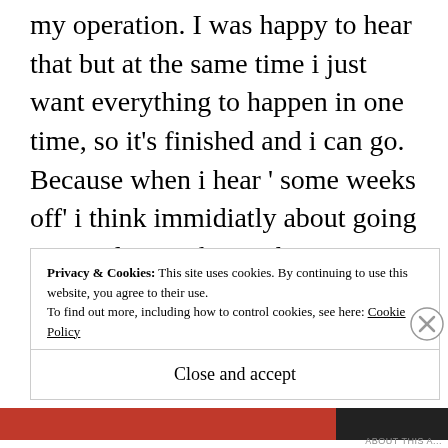my operation. I was happy to hear that but at the same time i just want everything to happen in one time, so it's finished and i can go. Because when i hear ' some weeks off' i think immidiatly about going to travel. But i know that time, i can not travel like i want. Just go far away, in some stuning nature, hiking! Because maybe i wil be tired and my body wil need to recover so i can't just take the bus and go take longue busrides, sleep anywhere, and see what happens. Probably i wil need to plan a bit
Privacy & Cookies: This site uses cookies. By continuing to use this website, you agree to their use. To find out more, including how to control cookies, see here: Cookie Policy
Close and accept